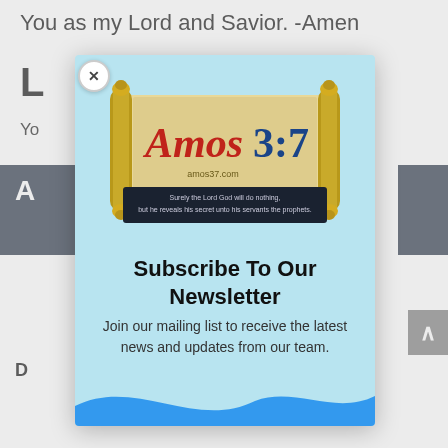You as my Lord and Savior. -Amen
L
Yo
[Figure (screenshot): Modal popup with Amos 3:7 website logo (scroll banner with text 'Amos3:7' and quote 'Surely the Lord God will do nothing, but he reveals his secret unto his servants the prophets.') and newsletter subscription prompt]
Subscribe To Our Newsletter
Join our mailing list to receive the latest news and updates from our team.